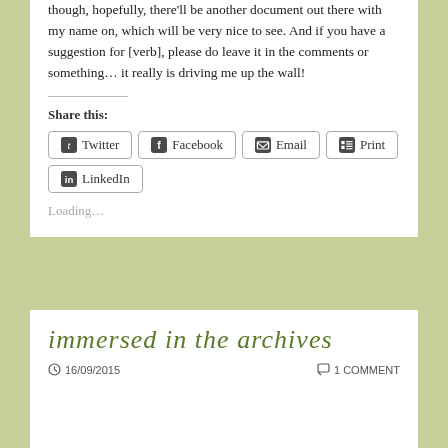though, hopefully, there'll be another document out there with my name on, which will be very nice to see. And if you have a suggestion for [verb], please do leave it in the comments or something… it really is driving me up the wall!
Share this:
Twitter Facebook Email Print LinkedIn
Loading…
immersed in the archives
16/09/2015   1 COMMENT